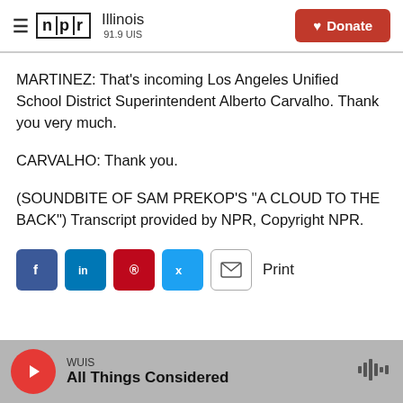NPR Illinois 91.9 UIS | Donate
MARTINEZ: That's incoming Los Angeles Unified School District Superintendent Alberto Carvalho. Thank you very much.
CARVALHO: Thank you.
(SOUNDBITE OF SAM PREKOP'S "A CLOUD TO THE BACK") Transcript provided by NPR, Copyright NPR.
[Figure (infographic): Social share buttons: Facebook, LinkedIn, Pinterest, Twitter, Email, and Print]
WUIS | All Things Considered